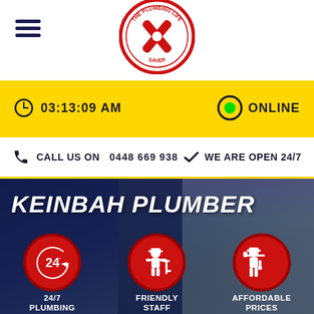[Figure (logo): The Plumbing Life Saver circular logo with red border and crossed plumbing tools]
03:13:09 AM
ONLINE
CALL US ON   0448 669 938
WE ARE OPEN 24/7
KEINBAH PLUMBER
[Figure (illustration): Red circle icon with 24-hour clock/timer symbol]
24/7 PLUMBING SERVICE
[Figure (illustration): Red circle icon with plumber/worker at sink icon]
FRIENDLY STAFF
[Figure (illustration): Red circle icon with plumber carrying tools icon]
AFFORDABLE PRICES